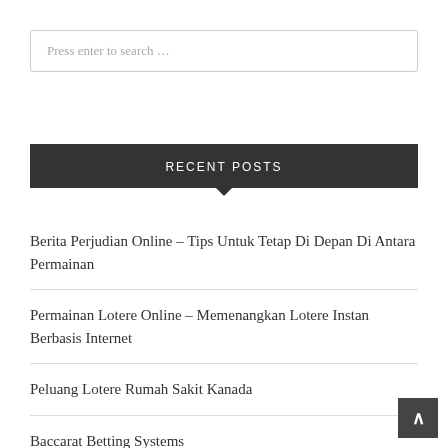Press enter to search …
RECENT POSTS
Berita Perjudian Online – Tips Untuk Tetap Di Depan Di Antara Permainan
Permainan Lotere Online – Memenangkan Lotere Instan Berbasis Internet
Peluang Lotere Rumah Sakit Kanada
Baccarat Betting Systems
Mobile Contracts at a Cheap Price: Substantial Savings